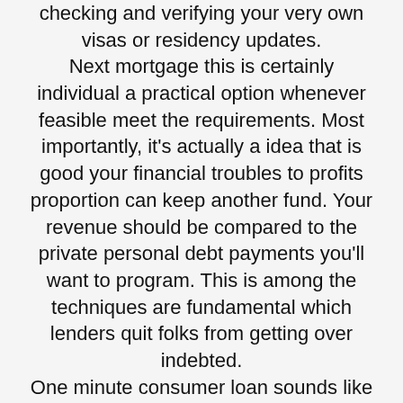checking and verifying your very own visas or residency updates. Next mortgage this is certainly individual a practical option whenever feasible meet the requirements. Most importantly, it's actually a idea that is good your financial troubles to profits proportion can keep another fund. Your revenue should be compared to the private personal debt payments you'll want to program. This is among the techniques are fundamental which lenders quit folks from getting over indebted. One minute consumer loan sounds like a notion that is great. Truly it surely significantly more than worth it if you think about the equal money You have a unsecured mortgage and you are currently closed in on equal costs. Another financial obligation could push you in to a bad earnings scenario they properly if you do not control.